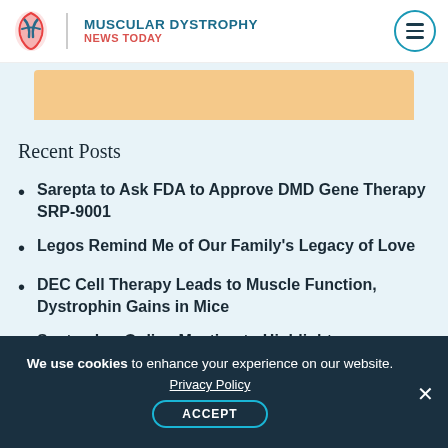MUSCULAR DYSTROPHY NEWS TODAY
Recent Posts
Sarepta to Ask FDA to Approve DMD Gene Therapy SRP-9001
Legos Remind Me of Our Family's Legacy of Love
DEC Cell Therapy Leads to Muscle Function, Dystrophin Gains in Mice
September Online Meeting to Highlight Views of LGMD Patients
We use cookies to enhance your experience on our website. Privacy Policy ACCEPT